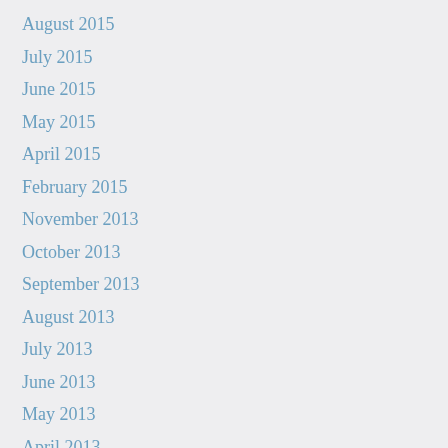August 2015
July 2015
June 2015
May 2015
April 2015
February 2015
November 2013
October 2013
September 2013
August 2013
July 2013
June 2013
May 2013
April 2013
March 2013
February 2013
January 2013